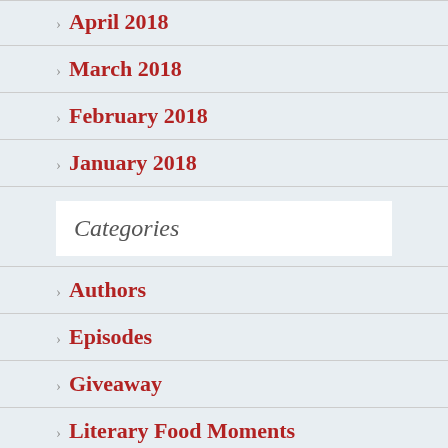April 2018
March 2018
February 2018
January 2018
Categories
Authors
Episodes
Giveaway
Literary Food Moments
N…